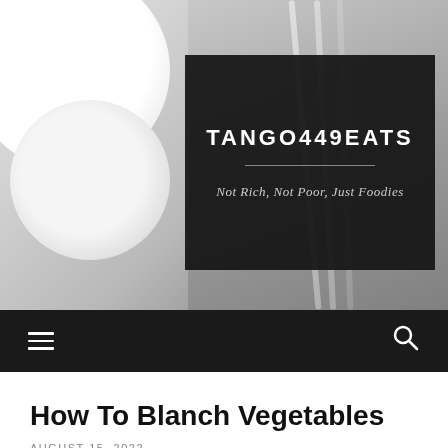[Figure (photo): Background photo of white dishes/bowls and cutlery (fork, knife, spoon) arranged on a white textured surface, in black and white tones]
TANGO449EATS
Not Rich, Not Poor, Just Foodies
Navigation bar with hamburger menu icon and search icon
How To Blanch Vegetables
AUGUST 15, 2022